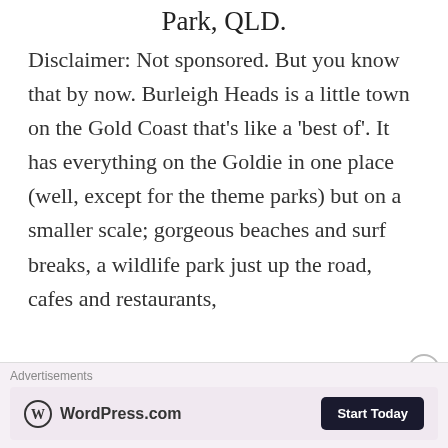Park, QLD.
Disclaimer: Not sponsored. But you know that by now. Burleigh Heads is a little town on the Gold Coast that's like a 'best of'. It has everything on the Goldie in one place (well, except for the theme parks) but on a smaller scale; gorgeous beaches and surf breaks, a wildlife park just up the road, cafes and restaurants,
Advertisements — WordPress.com — Start Today